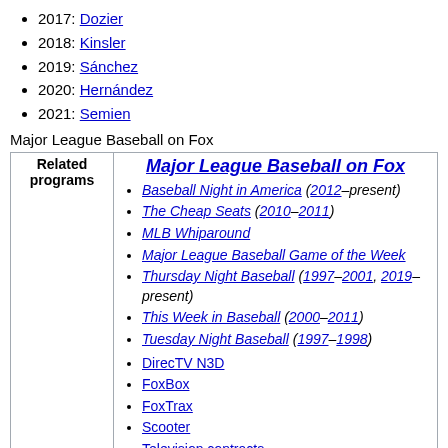2017: Dozier
2018: Kinsler
2019: Sánchez
2020: Hernández
2021: Semien
Major League Baseball on Fox
| Related programs | Major League Baseball on Fox |
| --- | --- |
| Related programs | Baseball Night in America (2012–present)
The Cheap Seats (2010–2011)
MLB Whiparound
Major League Baseball Game of the Week
Thursday Night Baseball (1997–2001, 2019–present)
This Week in Baseball (2000–2011)
Tuesday Night Baseball (1997–1998)

DirecTV N3D
FoxBox
FoxTrax
Scooter
Television contracts
  1990s
  2000s
  2010s |